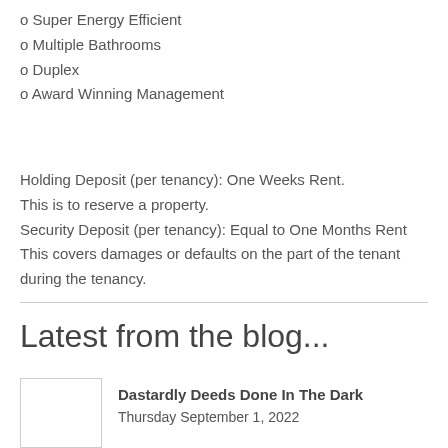o Super Energy Efficient
o Multiple Bathrooms
o Duplex
o Award Winning Management
Holding Deposit (per tenancy): One Weeks Rent.
This is to reserve a property.
Security Deposit (per tenancy): Equal to One Months Rent
This covers damages or defaults on the part of the tenant during the tenancy.
Latest from the blog...
Dastardly Deeds Done In The Dark
Thursday September 1, 2022